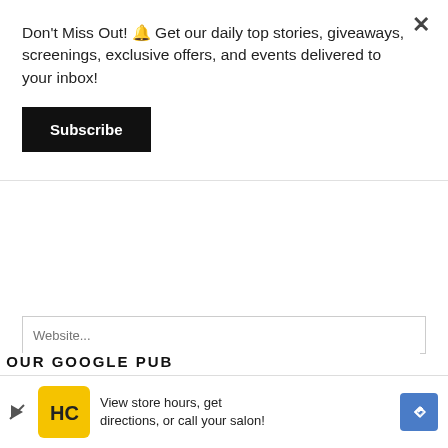Don't Miss Out! 🔔 Get our daily top stories, giveaways, screenings, exclusive offers, and events delivered to your inbox!
Subscribe
Website...
LEAVE A COMMENT
OUR GOOGLE PUB
View store hours, get directions, or call your salon!